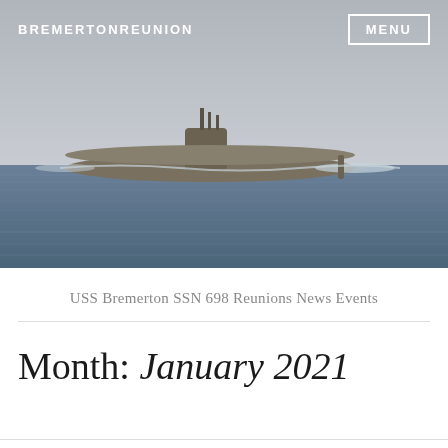[Figure (photo): USS Bremerton SSN-698 submarine surfacing on ocean water with grey sky background]
BREMERTONREUNION
MENU
USS Bremerton SSN 698 Reunions News Events
Month: January 2021